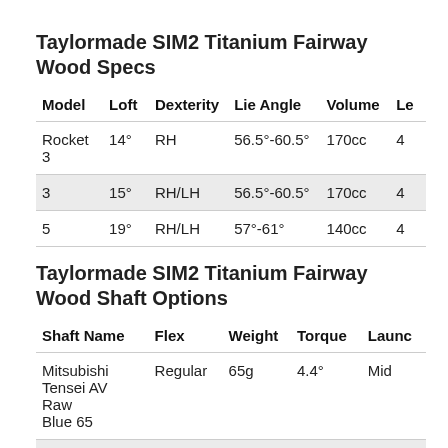Taylormade SIM2 Titanium Fairway Wood Specs
| Model | Loft | Dexterity | Lie Angle | Volume | Le |
| --- | --- | --- | --- | --- | --- |
| Rocket 3 | 14° | RH | 56.5°-60.5° | 170cc | 4 |
| 3 | 15° | RH/LH | 56.5°-60.5° | 170cc | 4 |
| 5 | 19° | RH/LH | 57°-61° | 140cc | 4 |
Taylormade SIM2 Titanium Fairway Wood Shaft Options
| Shaft Name | Flex | Weight | Torque | Launc |
| --- | --- | --- | --- | --- |
| Mitsubishi Tensei AV Raw Blue 65 | Regular | 65g | 4.4° | Mid |
| Mitsubishi | Stiff | 67g | 3.9° | Mid |